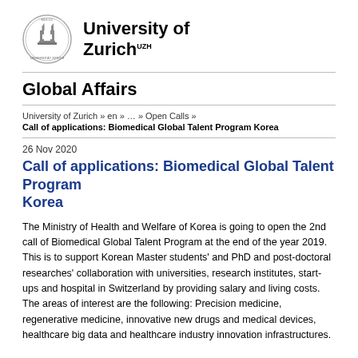[Figure (logo): University of Zurich circular seal/crest logo]
University of Zurich UZH
Global Affairs
University of Zurich » en » … » Open Calls »
Call of applications: Biomedical Global Talent Program Korea
26 Nov 2020
Call of applications: Biomedical Global Talent Program Korea
The Ministry of Health and Welfare of Korea is going to open the 2nd call of Biomedical Global Talent Program at the end of the year 2019. This is to support Korean Master students' and PhD and post-doctoral researches' collaboration with universities, research institutes, start-ups and hospital in Switzerland by providing salary and living costs. The areas of interest are the following: Precision medicine, regenerative medicine, innovative new drugs and medical devices, healthcare big data and healthcare industry innovation infrastructures.